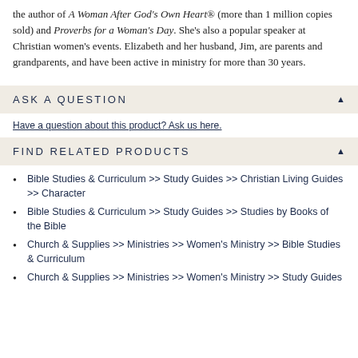the author of A Woman After God's Own Heart® (more than 1 million copies sold) and Proverbs for a Woman's Day. She's also a popular speaker at Christian women's events. Elizabeth and her husband, Jim, are parents and grandparents, and have been active in ministry for more than 30 years.
ASK A QUESTION
Have a question about this product? Ask us here.
FIND RELATED PRODUCTS
Bible Studies & Curriculum >> Study Guides >> Christian Living Guides >> Character
Bible Studies & Curriculum >> Study Guides >> Studies by Books of the Bible
Church & Supplies >> Ministries >> Women's Ministry >> Bible Studies & Curriculum
Church & Supplies >> Ministries >> Women's Ministry >> Study Guides